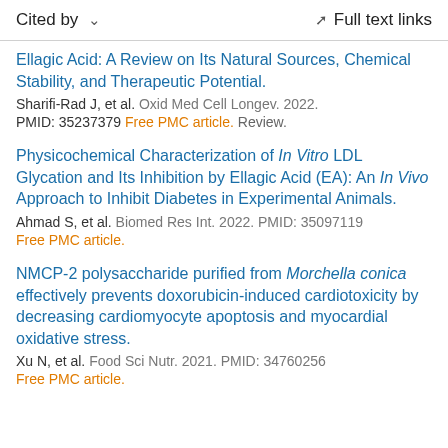Cited by    ∨    Full text links
Ellagic Acid: A Review on Its Natural Sources, Chemical Stability, and Therapeutic Potential.
Sharifi-Rad J, et al. Oxid Med Cell Longev. 2022.
PMID: 35237379 Free PMC article. Review.
Physicochemical Characterization of In Vitro LDL Glycation and Its Inhibition by Ellagic Acid (EA): An In Vivo Approach to Inhibit Diabetes in Experimental Animals.
Ahmad S, et al. Biomed Res Int. 2022. PMID: 35097119
Free PMC article.
NMCP-2 polysaccharide purified from Morchella conica effectively prevents doxorubicin-induced cardiotoxicity by decreasing cardiomyocyte apoptosis and myocardial oxidative stress.
Xu N, et al. Food Sci Nutr. 2021. PMID: 34760256
Free PMC article.